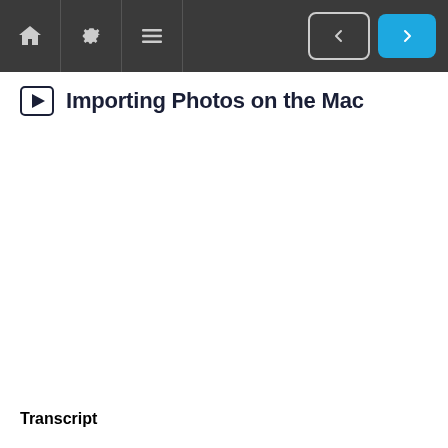Navigation bar with home, settings, menu icons and previous/next navigation buttons
Importing Photos on the Mac
[Figure (screenshot): Video player area (blank/empty video content area)]
Download
Transcript